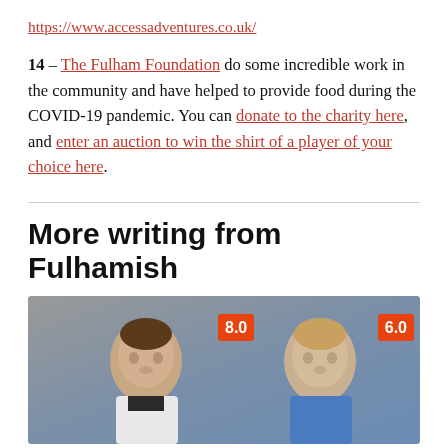https://www.accessadventures.co.uk/
14 – The Fulham Foundation do some incredible work in the community and have helped to provide food during the COVID-19 pandemic. You can donate to the charity here, and enter an auction to win the shirt of a player of your choice here.
More writing from Fulhamish
[Figure (photo): Two football players shown from shoulders up, one wearing white/dark kit with score badge 8.0, one wearing blue goalkeeper kit with score badge 6.0, blurred grey background]